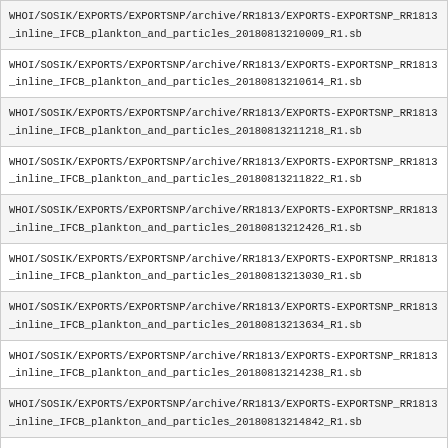| WHOI/SOSIK/EXPORTS/EXPORTSNP/archive/RR1813/EXPORTS-EXPORTSNP_RR1813_inline_IFCB_plankton_and_particles_20180813210009_R1.sb |
| WHOI/SOSIK/EXPORTS/EXPORTSNP/archive/RR1813/EXPORTS-EXPORTSNP_RR1813_inline_IFCB_plankton_and_particles_20180813210614_R1.sb |
| WHOI/SOSIK/EXPORTS/EXPORTSNP/archive/RR1813/EXPORTS-EXPORTSNP_RR1813_inline_IFCB_plankton_and_particles_20180813211218_R1.sb |
| WHOI/SOSIK/EXPORTS/EXPORTSNP/archive/RR1813/EXPORTS-EXPORTSNP_RR1813_inline_IFCB_plankton_and_particles_20180813211822_R1.sb |
| WHOI/SOSIK/EXPORTS/EXPORTSNP/archive/RR1813/EXPORTS-EXPORTSNP_RR1813_inline_IFCB_plankton_and_particles_20180813212426_R1.sb |
| WHOI/SOSIK/EXPORTS/EXPORTSNP/archive/RR1813/EXPORTS-EXPORTSNP_RR1813_inline_IFCB_plankton_and_particles_20180813213030_R1.sb |
| WHOI/SOSIK/EXPORTS/EXPORTSNP/archive/RR1813/EXPORTS-EXPORTSNP_RR1813_inline_IFCB_plankton_and_particles_20180813213634_R1.sb |
| WHOI/SOSIK/EXPORTS/EXPORTSNP/archive/RR1813/EXPORTS-EXPORTSNP_RR1813_inline_IFCB_plankton_and_particles_20180813214238_R1.sb |
| WHOI/SOSIK/EXPORTS/EXPORTSNP/archive/RR1813/EXPORTS-EXPORTSNP_RR1813_inline_IFCB_plankton_and_particles_20180813214842_R1.sb |
| WHOI/SOSIK/EXPORTS/EXPORTSNP/archive/RR1813/EXPORTS-EXPORTSNP_RR1813_inline_IFCB_plankton_and_particles_20180813215650_R1.sb |
| WHOI/SOSIK/EXPORTS/EXPORTSNP/archive/RR1813/EXPORTS-EXPORTSNP_RR1813_inline_IFCB_plankton_and_particles_20180813220254_R1.sb |
| WHOI/SOSIK/EXPORTS/EXPORTSNP/archive/RR1813/EXPORTS-EXPORTSNP_RR1813_inline_IFCB_plankton_and_particles_20180813220254_R1.sb |